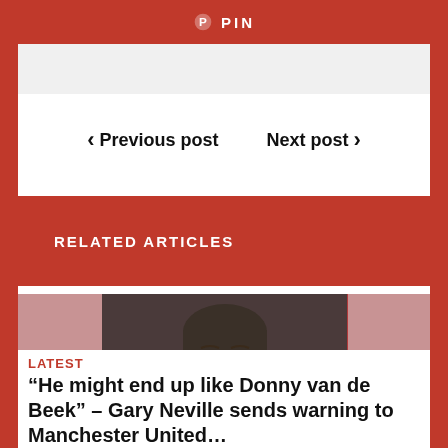[Figure (other): Pinterest PIN button bar in red]
< Previous post   Next post >
RELATED ARTICLES
[Figure (photo): Man (Gary Neville) looking upward, wearing a dark jacket and scarf, with blurred red background]
LATEST
“He might end up like Donny van de Beek” – Gary Neville sends warning to Manchester United…